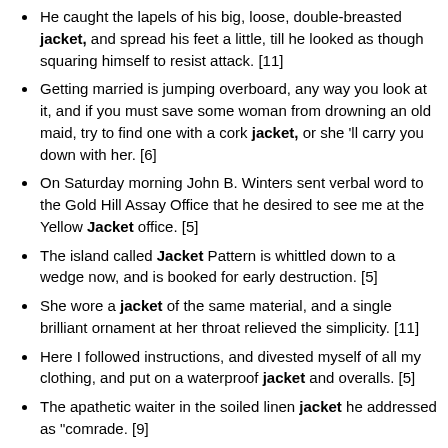He caught the lapels of his big, loose, double-breasted jacket, and spread his feet a little, till he looked as though squaring himself to resist attack. [11]
Getting married is jumping overboard, any way you look at it, and if you must save some woman from drowning an old maid, try to find one with a cork jacket, or she 'll carry you down with her. [6]
On Saturday morning John B. Winters sent verbal word to the Gold Hill Assay Office that he desired to see me at the Yellow Jacket office. [5]
The island called Jacket Pattern is whittled down to a wedge now, and is booked for early destruction. [5]
She wore a jacket of the same material, and a single brilliant ornament at her throat relieved the simplicity. [11]
Here I followed instructions, and divested myself of all my clothing, and put on a waterproof jacket and overalls. [5]
The apathetic waiter in the soiled linen jacket he addressed as "comrade. [9]
He was clothed in a rich jacket of blue, and a pair of sandal-like shoes was placed neatly in front of the bamboo mat. [11]